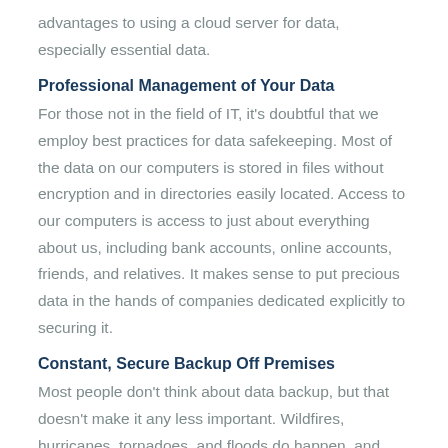advantages to using a cloud server for data, especially essential data.
Professional Management of Your Data
For those not in the field of IT, it's doubtful that we employ best practices for data safekeeping. Most of the data on our computers is stored in files without encryption and in directories easily located. Access to our computers is access to just about everything about us, including bank accounts, online accounts, friends, and relatives. It makes sense to put precious data in the hands of companies dedicated explicitly to securing it.
Constant, Secure Backup Off Premises
Most people don't think about data backup, but that doesn't make it any less important. Wildfires, hurricanes, tornadoes, and floods do happen, and after a disaster has occurred is the wrong time to think about disaster recovery of your valuable data.
Cloud-stored data is not just “out there;” it’s securely